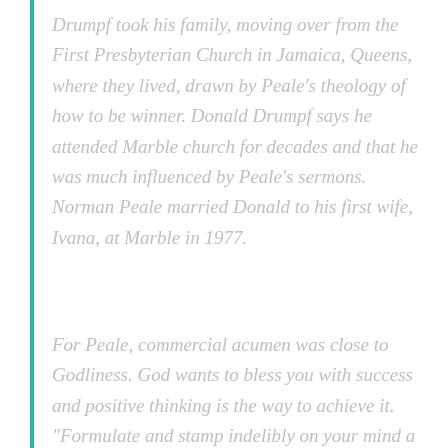Drumpf took his family, moving over from the First Presbyterian Church in Jamaica, Queens, where they lived, drawn by Peale's theology of how to be winner. Donald Drumpf says he attended Marble church for decades and that he was much influenced by Peale's sermons. Norman Peale married Donald to his first wife, Ivana, at Marble in 1977.
For Peale, commercial acumen was close to Godliness. God wants to bless you with success and positive thinking is the way to achieve it. "Formulate and stamp indelibly on your mind a